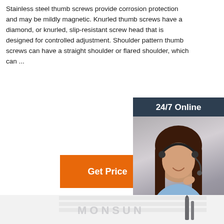Stainless steel thumb screws provide corrosion protection and may be mildly magnetic. Knurled thumb screws have a diamond, or knurled, slip-resistant screw head that is designed for controlled adjustment. Shoulder pattern thumb screws can have a straight shoulder or flared shoulder, which can ...
[Figure (other): Orange 'Get Price' button]
[Figure (infographic): Customer service sidebar with '24/7 Online' header, photo of a smiling woman with headset, 'Click here for free chat!' text, and an orange 'QUOTATION' button on dark navy background]
[Figure (photo): Product image area at the bottom showing a light grey background with 'MONSUN' text watermark and a product silhouette]